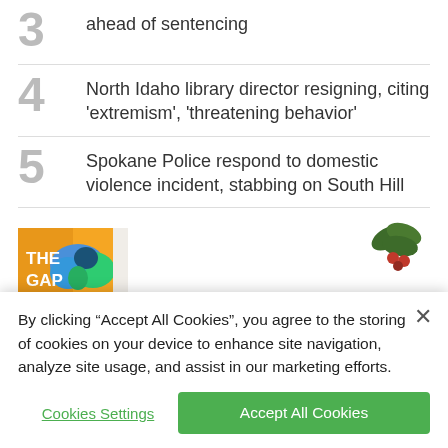3 ahead of sentencing
4 North Idaho library director resigning, citing 'extremism', 'threatening behavior'
5 Spokane Police respond to domestic violence incident, stabbing on South Hill
[Figure (photo): Book cover of 'The Gap' with colorful bird illustration, shown next to holly decoration and 'Like to laugh?' text]
By clicking “Accept All Cookies”, you agree to the storing of cookies on your device to enhance site navigation, analyze site usage, and assist in our marketing efforts.
Cookies Settings | Accept All Cookies